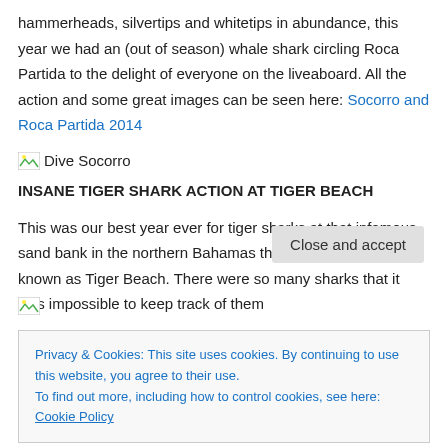hammerheads, silvertips and whitetips in abundance, this year we had an (out of season) whale shark circling Roca Partida to the delight of everyone on the liveaboard. All the action and some great images can be seen here: Socorro and Roca Partida 2014
[Figure (illustration): Small broken image icon with alt text 'Dive Socorro']
INSANE TIGER SHARK ACTION AT TIGER BEACH
This was our best year ever for tiger sharks at that infamous sand bank in the northern Bahamas that has come to be known as Tiger Beach. There were so many sharks that it was impossible to keep track of them
Privacy & Cookies: This site uses cookies. By continuing to use this website, you agree to their use. To find out more, including how to control cookies, see here: Cookie Policy
[Figure (illustration): Small broken image icon at bottom of page]